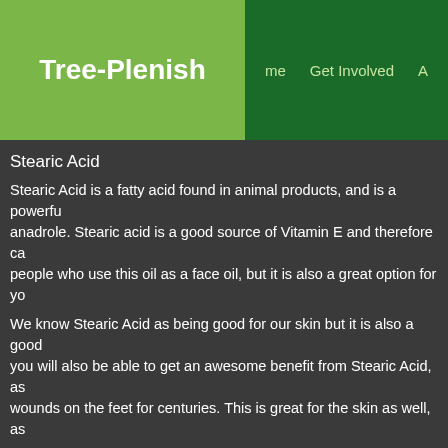Tree-Plenish
me   Get Involved   A
Stearic Acid
Stearic Acid is a fatty acid found in animal products, and is a powerful anadrole. Stearic acid is a good source of Vitamin E and therefore ca people who use this oil as a face oil, but it is also a great option for yo
We know Stearic Acid as being good for our skin but it is also a good you will also be able to get an awesome benefit from Stearic Acid, as wounds on the feet for centuries. This is great for the skin as well, as
Our Best Body Oil Ingredients include:
Argan Oil
Argan Oil is a long, oily plant that produces great oil for the skin, crazy be used for a period of time before you can use a moisturizing oil. It c dry if you are in the sun or have a dry skin, crazy bulk bulking stack d